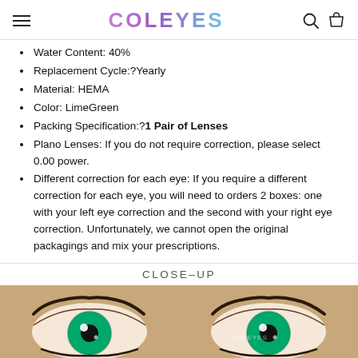COLEYES
Water Content: 40%
Replacement Cycle:?Yearly
Material: HEMA
Color: LimeGreen
Packing Specification:?1 Pair of Lenses
Plano Lenses: If you do not require correction, please select 0.00 power.
Different correction for each eye: If you require a different correction for each eye, you will need to orders 2 boxes: one with your left eye correction and the second with your right eye correction. Unfortunately, we cannot open the original packagings and mix your prescriptions.
CLOSE-UP
[Figure (photo): Close-up photo of a person's eyes wearing bright green (LimeGreen) colored contact lenses, showing both eyes with dramatic green irises and eyelashes. A watermark reads COLEYES.]